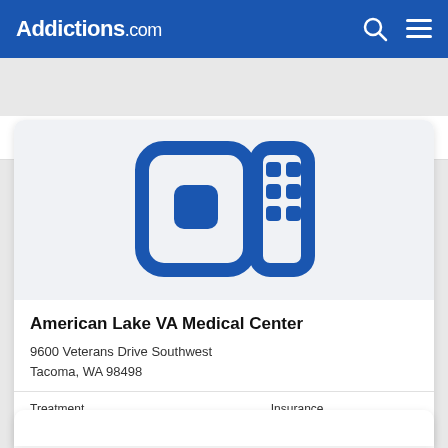Addictions.com
Call SAMHSA Helpline Today  ☎ (800) 662-HELP (4357)
[Figure (logo): American Lake VA Medical Center logo — blue stylized icon of a house/building with grid squares on a light gray background]
American Lake VA Medical Center
9600 Veterans Drive Southwest
Tacoma, WA 98498
Treatment
Insurance
Outpatient
Inpatient
Detox
Private